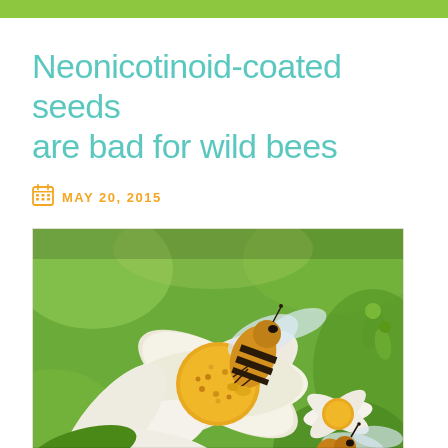Neonicotinoid-coated seeds are bad for wild bees
MAY 20, 2015
[Figure (photo): Close-up photograph of two honey bees on white flowers with yellow centers and pollen, set against a blurred green background. The bees have striped abdomens and are collecting pollen.]